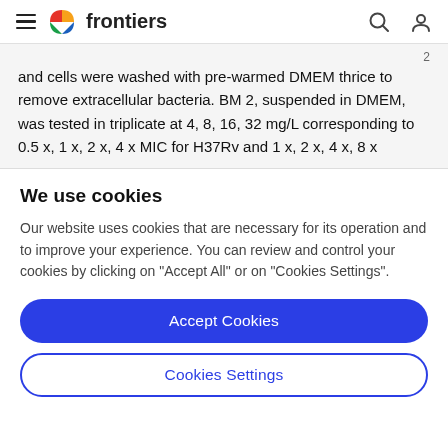frontiers
and cells were washed with pre-warmed DMEM thrice to remove extracellular bacteria. BM 2, suspended in DMEM, was tested in triplicate at 4, 8, 16, 32 mg/L corresponding to 0.5 x, 1 x, 2 x, 4 x MIC for H37Rv and 1 x, 2 x, 4 x, 8 x
We use cookies
Our website uses cookies that are necessary for its operation and to improve your experience. You can review and control your cookies by clicking on "Accept All" or on "Cookies Settings".
Accept Cookies
Cookies Settings